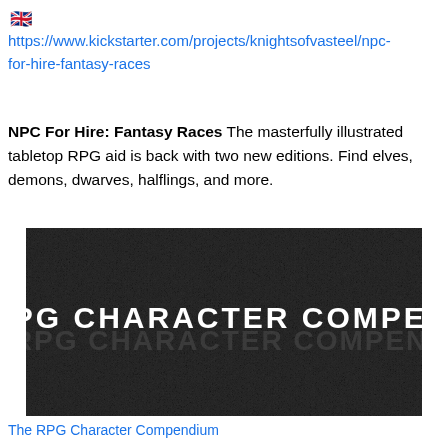[Figure (illustration): UK flag emoji]
https://www.kickstarter.com/projects/knightsofvasteel/npc-for-hire-fantasy-races
NPC For Hire: Fantasy Races The masterfully illustrated tabletop RPG aid is back with two new editions. Find elves, demons, dwarves, halflings, and more.
[Figure (photo): Dark textured background image with white bold text reading THE RPG CHARACTER COMPENDIUM, with a faded/ghosted version of the same text below it.]
The RPG Character Compendium